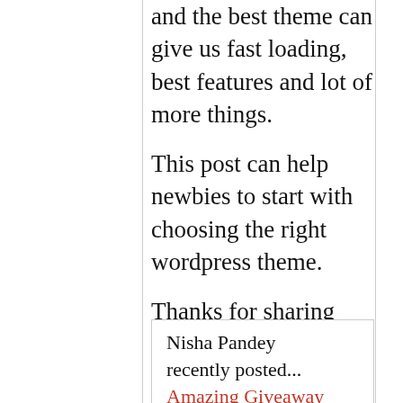and the best theme can give us fast loading, best features and lot of more things.
This post can help newbies to start with choosing the right wordpress theme.
Thanks for sharing with us. Have a great day!
Nisha Pandey recently posted... Amazing Giveaway